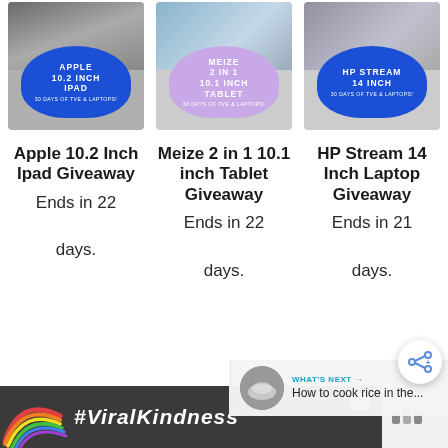[Figure (photo): Three giveaway promotional cards in a row: Apple 10.2 Inch iPad, Meize 2 in 1 10.1 inch Tablet, HP Stream 14 Inch laptop giveaway cards with device photos and colored badge overlays]
Apple 10.2 Inch Ipad Giveaway
Ends in 22

days.
Meize 2 in 1 10.1 inch Tablet Giveaway
Ends in 22

days.
HP Stream 14 Inch Laptop Giveaway
Ends in 21

days.
[Figure (illustration): Share button icon (circle with share symbol)]
[Figure (photo): What's Next widget showing thumbnail of rice and text 'How to cook rice in the...']
[Figure (photo): Advertisement banner with rainbow illustration and #ViralKindness text]